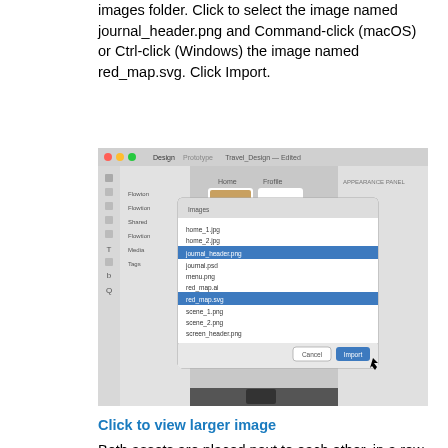images folder. Click to select the image named journal_header.png and Command-click (macOS) or Ctrl-click (Windows) the image named red_map.svg. Click Import.
[Figure (screenshot): Screenshot of a design application (Adobe XD or similar) showing an import dialog open over the main canvas. The dialog shows a file browser with an 'Images' folder open. Files listed include home_1.jpg, home_2.jpg, journal_header.png (highlighted in blue), journal.psd, menu.png, red_map.ai, red_map.svg (highlighted in blue), scene_1.png, scene_2.png, screen_header.png. Cancel and Import buttons are visible at the bottom right, with a cursor hovering over the Import button.]
Click to view larger image
Both assets are placed next to each other, in a row, in the center of the document window. Any imported assets that touch an artboard are placed on that artboard. If a placed image doesn't overlap the first artboard, it will be placed on the next artboard to the right, and